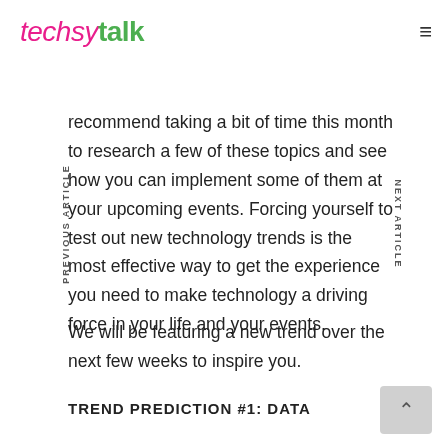techsytalk
recommend taking a bit of time this month to research a few of these topics and see how you can implement some of them at your upcoming events. Forcing yourself to test out new technology trends is the most effective way to get the experience you need to make technology a driving force in your life and your events.
We will be featuring a new trend over the next few weeks to inspire you.
TREND PREDICTION #1: DATA